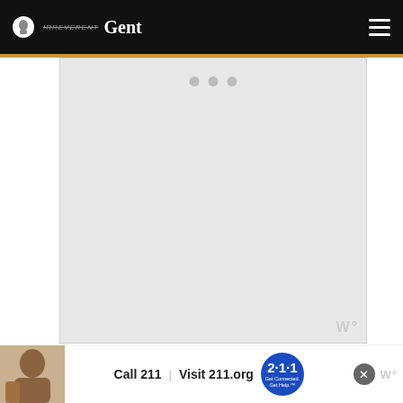Irreverent Gent
[Figure (screenshot): Image carousel placeholder area with three navigation dots, light gray background]
Check Price ▶
XTERRA Fitness TR150 Folding Treadmill
[Figure (screenshot): Bottom advertisement bar: woman on phone, Call 211 | Visit 211.org, 2-1-1 badge with tagline Get Connected. Get Help.]